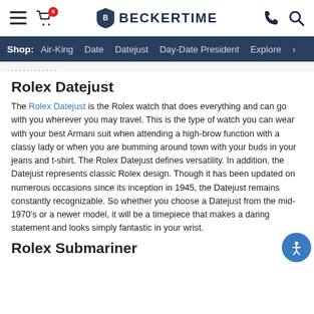BECKERTIME — navigation header with hamburger menu, cart (0), logo, phone, and search icons
Shop: Air-King  Date  Datejust  Day-Date President  Explore >
Rolex Datejust
The Rolex Datejust is the Rolex watch that does everything and can go with you wherever you may travel. This is the type of watch you can wear with your best Armani suit when attending a high-brow function with a classy lady or when you are bumming around town with your buds in your jeans and t-shirt. The Rolex Datejust defines versatility. In addition, the Datejust represents classic Rolex design. Though it has been updated on numerous occasions since its inception in 1945, the Datejust remains constantly recognizable. So whether you choose a Datejust from the mid-1970's or a newer model, it will be a timepiece that makes a daring statement and looks simply fantastic in your wrist.
Rolex Submariner